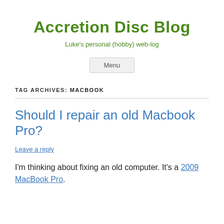Accretion Disc Blog
Luke's personal (hobby) web-log
Menu
TAG ARCHIVES: MACBOOK
Should I repair an old Macbook Pro?
Leave a reply
I'm thinking about fixing an old computer. It's a 2009 MacBook Pro.